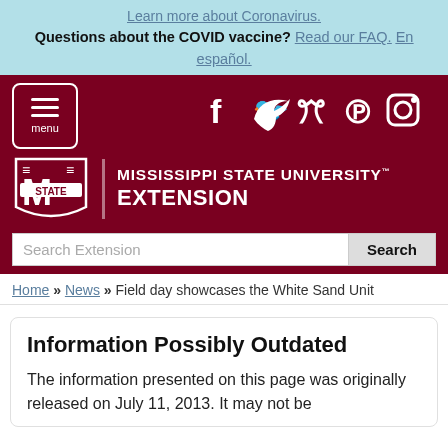Learn more about Coronavirus. Questions about the COVID vaccine? Read our FAQ. En español.
[Figure (logo): Mississippi State University Extension logo with MSU shield and wordmark, menu button, and social media icons (Facebook, Twitter, Pinterest, Instagram)]
Search Extension [Search button]
Home » News » Field day showcases the White Sand Unit
Information Possibly Outdated
The information presented on this page was originally released on July 11, 2013. It may not be